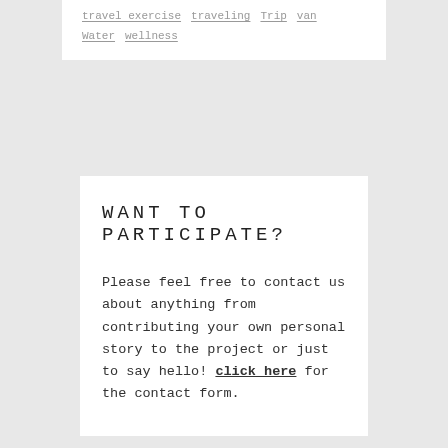travel exercise  traveling  Trip  van  Water  wellness
WANT TO PARTICIPATE?
Please feel free to contact us about anything from contributing your own personal story to the project or just to say hello! click here for the contact form.